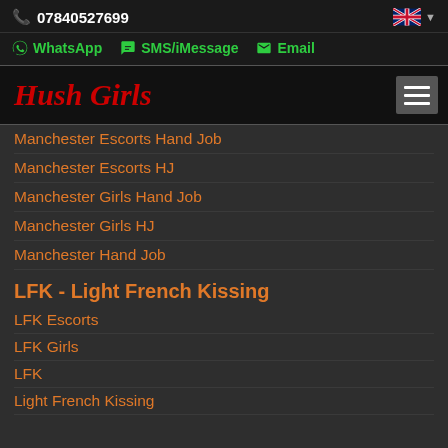07840527699
WhatsApp  SMS/iMessage  Email
Hush Girls
Manchester Escorts Hand Job
Manchester Escorts HJ
Manchester Girls Hand Job
Manchester Girls HJ
Manchester Hand Job
LFK - Light French Kissing
LFK Escorts
LFK Girls
LFK
Light French Kissing